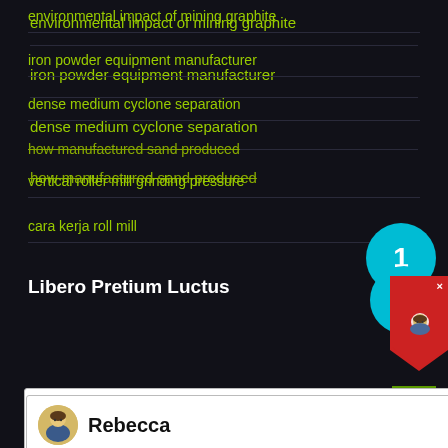environmental impact of mining graphite
iron powder equipment manufacturer
dense medium cyclone separation
how manufactured sand produced
[Figure (screenshot): Chat popup from Liming Heavy Industry website with avatar of Rebecca and welcome message]
vertical roller mill grinding pressure
cara kerja roll mill
Libero Pretium Luctus
[Figure (photo): Partial photo of industrial equipment or scene at bottom of page]